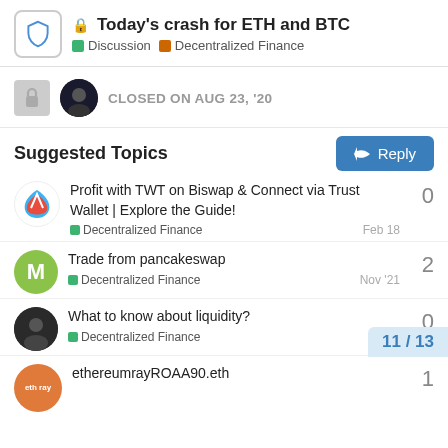Today's crash for ETH and BTC | Discussion | Decentralized Finance
CLOSED ON AUG 23, '20
Suggested Topics
Profit with TWT on Biswap & Connect via Trust Wallet | Explore the Guide! | Decentralized Finance | Feb 18 | 0
Trade from pancakeswap | Decentralized Finance | Nov '21 | 2
What to know about liquidity? | Decentralized Finance | '21 | 0
ethereumrayROAA90.eth | 1
11 / 13